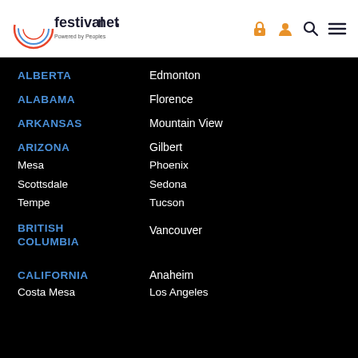[Figure (logo): FestivalNet logo - Powered by Peoples, with circular swoosh graphic]
ALBERTA - Edmonton
ALABAMA - Florence
ARKANSAS - Mountain View
ARIZONA - Gilbert, Mesa, Phoenix, Scottsdale, Sedona, Tempe, Tucson
BRITISH COLUMBIA - Vancouver
CALIFORNIA - Anaheim, Costa Mesa, Los Angeles